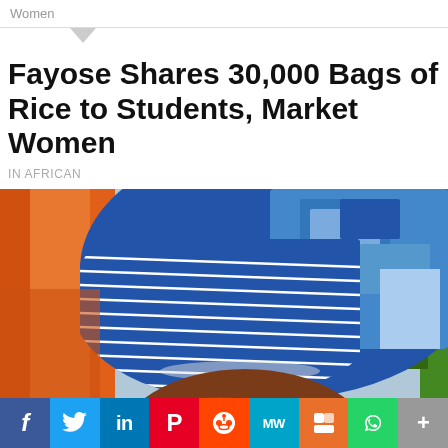Women
Fayose Shares 30,000 Bags of Rice to Students, Market Women
IN AFRICAN
[Figure (photo): Close-up photo of a person wearing a blue and white patterned headwrap/headtie, with forehead visible at bottom. Orange cloth visible on the left side, green foliage on the right.]
f  Twitter  in  Pinterest  Reddit  MW  Mix  WhatsApp  More